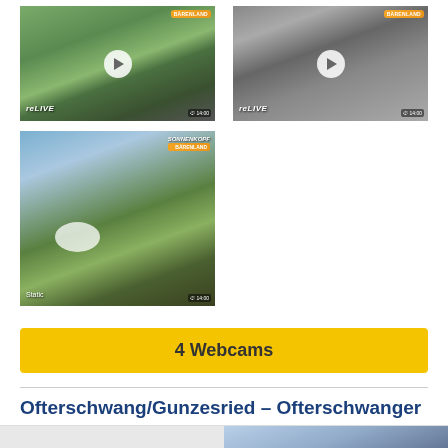[Figure (screenshot): Webcam thumbnail 1 - Alpine mountain scene with green hills, path, and chalet building, reLIVE label]
[Figure (screenshot): Webcam thumbnail 2 - Mountain scene with cloudy sky, reLIVE label]
[Figure (screenshot): Webcam thumbnail 3 - Alpine aerial view with mountain lake, green hills, and chalet]
4 Webcams
Ofterschwang/Gunzesried – Ofterschwanger Horn
Europe » Germany » Bavaria (Bayern) » Swabia (Schwaben) » Oberaligäu » Hörnerdörfer